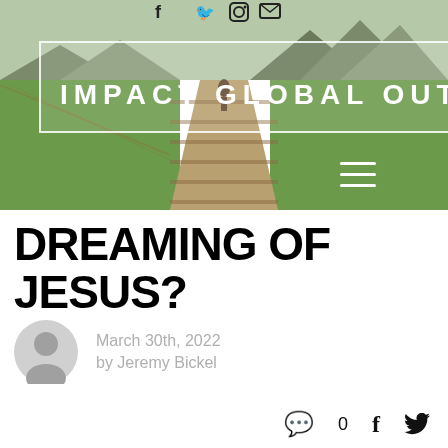[Figure (photo): Header banner photo showing a wooden walkway through green rice paddies with mountains in the background, overlaid with the Impact Global Outreach logo text in a white-bordered box]
IMPACT GLOBAL OUTRE
DREAMING OF JESUS?
March 30th, 2022
by Jeremy Bickel